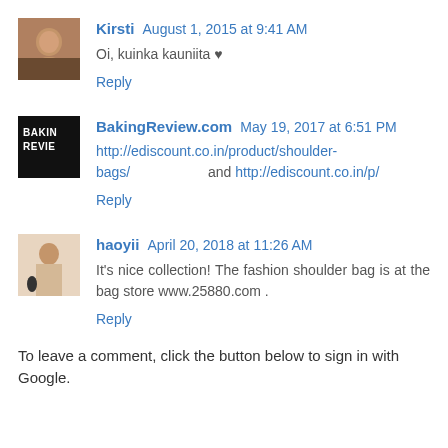Kirsti  August 1, 2015 at 9:41 AM
Oi, kuinka kauniita ♥
Reply
BakingReview.com  May 19, 2017 at 6:51 PM
http://ediscount.co.in/product/shoulder-bags/  and http://ediscount.co.in/p/
Reply
haoyii  April 20, 2018 at 11:26 AM
It's nice collection! The fashion shoulder bag is at the bag store www.25880.com .
Reply
To leave a comment, click the button below to sign in with Google.